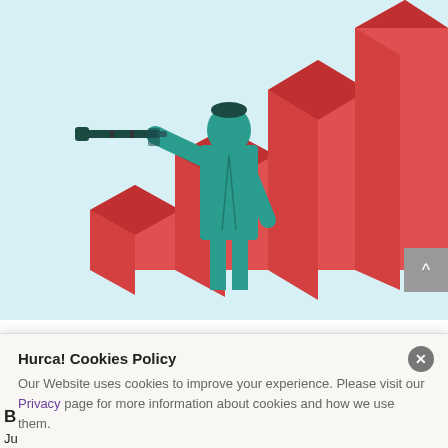[Figure (illustration): Illustration of a teal-colored person in a suit looking through a telescope/spyglass, standing in front of rising red arrow-shaped bar chart columns on a light blue background.]
Hurca! Cookies Policy
Our Website uses cookies to improve your experience. Please visit our Privacy page for more information about cookies and how we use them.